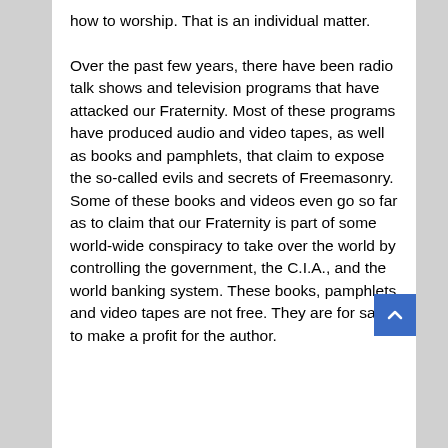how to worship. That is an individual matter.

Over the past few years, there have been radio talk shows and television programs that have attacked our Fraternity. Most of these programs have produced audio and video tapes, as well as books and pamphlets, that claim to expose the so-called evils and secrets of Freemasonry. Some of these books and videos even go so far as to claim that our Fraternity is part of some world-wide conspiracy to take over the world by controlling the government, the C.I.A., and the world banking system. These books, pamphlets and video tapes are not free. They are for sale to make a profit for the author.